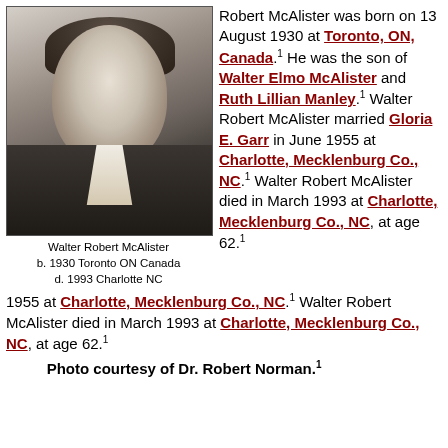[Figure (photo): Black and white portrait photo of Walter Robert McAlister, a young man in a suit and tie]
Walter Robert McAlister
b. 1930 Toronto ON Canada
d. 1993 Charlotte NC
Robert McAlister was born on 13 August 1930 at Toronto, ON, Canada.1 He was the son of Walter Elmo McAlister and Ruth Lillian Manley.1 Walter Robert McAlister married Gloria E. Garr in June 1955 at Charlotte, Mecklenburg Co., NC.1 Walter Robert McAlister died in March 1993 at Charlotte, Mecklenburg Co., NC, at age 62.1
Photo courtesy of Dr. Robert Norman.1